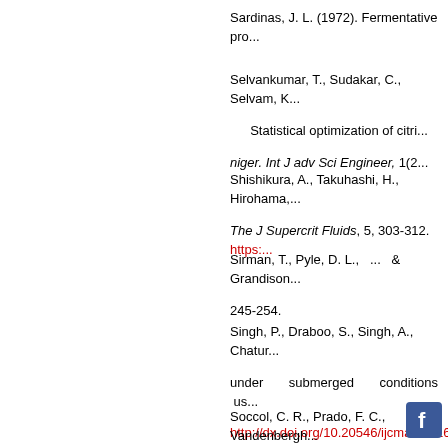Sardinas, J. L. (1972). Fermentative pro...
Selvankumar, T., Sudakar, C., Selvam, K... Statistical optimization of citri... niger. Int J adv Sci Engineer, 1(2...
Shishikura, A., Takuhashi, H., Hirohama,... The J Supercrit Fluids, 5, 303-312. https:...
Sirman, T., Pyle, D. L., ... & Grandison... 245-254.
Singh, P., Draboo, S., Singh, A., Chatur... under submerged conditions us... http://dx.doi.org/10.20546/ijcmas.2016.50...
Soccol, C. R., Prado, F. C., Vandenbergh... and solid-state fermentation. In: Concise...
Soccol, C. R., Vandenberghe, L. P. S.,... application. Food Technol Biotechnol, 44...
Swain, M. R., Ray, R. C., ... & Patra... industries, Nova Science Publishers, Inc....
Tangerdy, R. P. (1996). Cellulase produc...